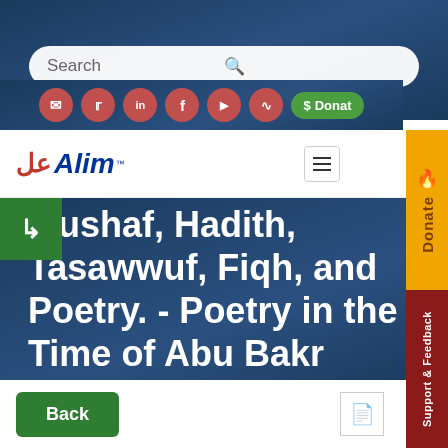[Figure (screenshot): Search bar with rounded corners on dark blue background]
[Figure (screenshot): Social media icon buttons (email, twitter, linkedin, facebook, youtube, rss) and green Donate button on dark blue background]
[Figure (screenshot): Alim logo navigation bar with hamburger menu]
[Figure (screenshot): Orange Donate sidebar tab on right side]
[Figure (screenshot): Green back arrow tab on left side]
Mushaf, Hadith, Tasawwuf, Fiqh, and Poetry. - Poetry in the Time of Abu Bakr
[Figure (screenshot): Dark red Support & Feedback sidebar tab on right side]
Back
[Figure (screenshot): PDF download icon button]